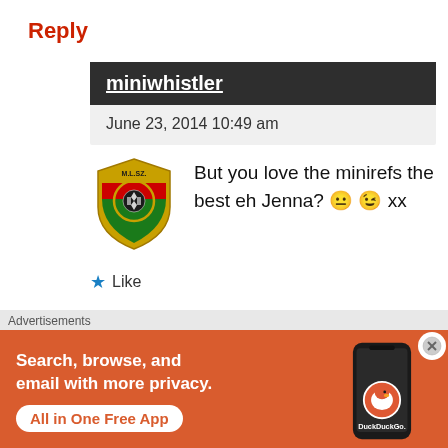Reply
miniwhistler
June 23, 2014 10:49 am
[Figure (logo): Football referee association shield badge (MLSZ style), gold/red/green colors with soccer ball emblem]
But you love the minirefs the best eh Jenna? 😐 😉 xx
★ Like
Reply
[Figure (screenshot): DuckDuckGo advertisement banner: orange background, text 'Search, browse, and email with more privacy. All in One Free App', with phone image and DuckDuckGo logo]